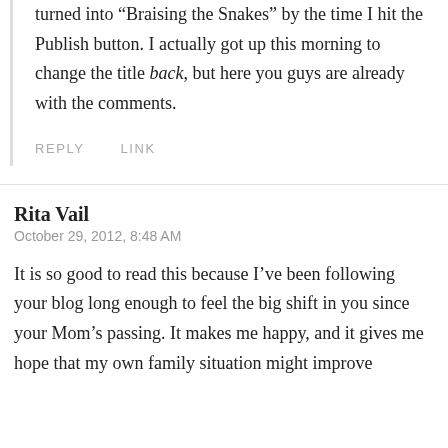turned into “Braising the Snakes” by the time I hit the Publish button. I actually got up this morning to change the title back, but here you guys are already with the comments.
REPLY   LINK
Rita Vail
October 29, 2012, 8:48 AM
It is so good to read this because I’ve been following your blog long enough to feel the big shift in you since your Mom’s passing. It makes me happy, and it gives me hope that my own family situation might improve